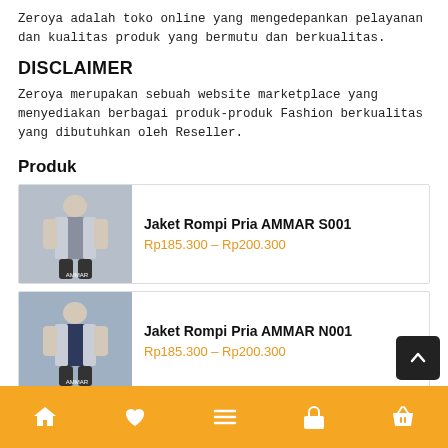Zeroya adalah toko online yang mengedepankan pelayanan dan kualitas produk yang bermutu dan berkualitas.
DISCLAIMER
Zeroya merupakan sebuah website marketplace yang menyediakan berbagai produk-produk Fashion berkualitas yang dibutuhkan oleh Reseller.
Produk
[Figure (photo): Product photo of Jaket Rompi Pria AMMAR S001 - man wearing grey vest]
Jaket Rompi Pria AMMAR S001
Rp185.300 – Rp200.300
[Figure (photo): Product photo of Jaket Rompi Pria AMMAR N001 - man wearing navy vest]
Jaket Rompi Pria AMMAR N001
Rp185.300 – Rp200.300
[Figure (photo): Product photo of Rompi Shalat Pria RMQM M003 - man wearing dark red prayer vest]
Rompi Shalat Pria RMQM M003
Rp98.500 – Rp115.000
Home | Wishlist | Menu | Cart | Basket